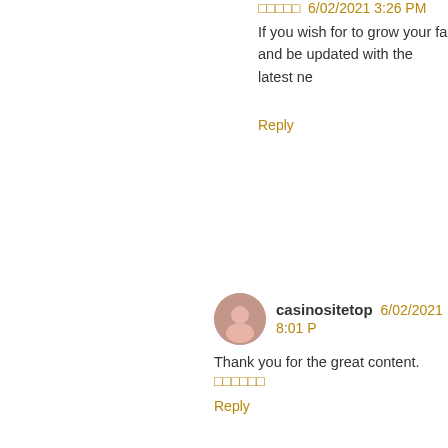□□□□□  6/02/2021 3:26 PM
If you wish for to grow your fa and be updated with the latest ne
Reply
casinositetop  6/02/2021 8:01 PM
Thank you for the great content. □□□□□□
Reply
casinositetop  6/02/2021 8:04 PM
wow, great, I was wondering ho by google, learned a lot, now i'm add rss. keep us updated. □□□□□□
Reply
casinositetop  6/02/2021 8:04 PM
This is an excellent post I seen t